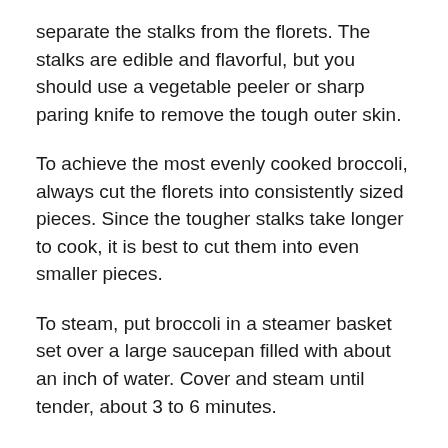separate the stalks from the florets. The stalks are edible and flavorful, but you should use a vegetable peeler or sharp paring knife to remove the tough outer skin.
To achieve the most evenly cooked broccoli, always cut the florets into consistently sized pieces. Since the tougher stalks take longer to cook, it is best to cut them into even smaller pieces.
To steam, put broccoli in a steamer basket set over a large saucepan filled with about an inch of water. Cover and steam until tender, about 3 to 6 minutes.
To microwave, put about 4 cups of stalks and florets in a microwave-safe bowl. Add a few tablespoons of water, then cover and microwave on high for 3 to 5 minutes, or until the broccoli is just tender.